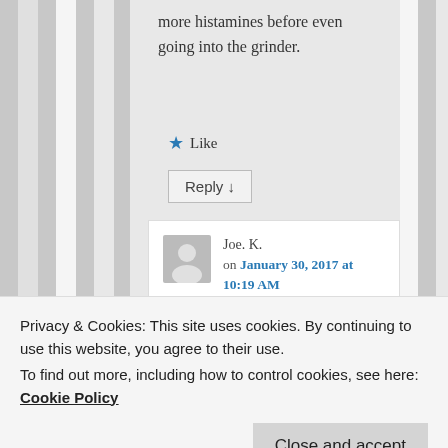more histamines before even going into the grinder.
★ Like
Reply ↓
Joe. K. on January 30, 2017 at 10:19 AM said:
Thanks very much. I
Privacy & Cookies: This site uses cookies. By continuing to use this website, you agree to their use. To find out more, including how to control cookies, see here: Cookie Policy
Close and accept
day ago.